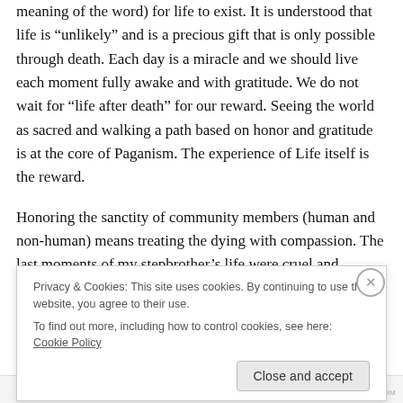meaning of the word) for life to exist. It is understood that life is “unlikely” and is a precious gift that is only possible through death. Each day is a miracle and we should live each moment fully awake and with gratitude. We do not wait for “life after death” for our reward. Seeing the world as sacred and walking a path based on honor and gratitude is at the core of Paganism. The experience of Life itself is the reward.
Honoring the sanctity of community members (human and non-human) means treating the dying with compassion. The last moments of my stepbrother’s life were cruel and
Privacy & Cookies: This site uses cookies. By continuing to use this website, you agree to their use.
To find out more, including how to control cookies, see here: Cookie Policy
Close and accept
WORDPRESS.COM